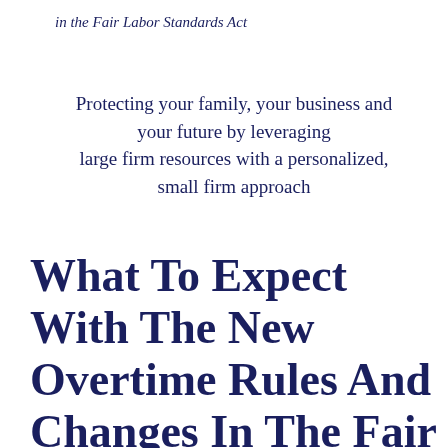in the Fair Labor Standards Act
Protecting your family, your business and your future by leveraging large firm resources with a personalized, small firm approach
What To Expect With The New Overtime Rules And Changes In The Fair Labor Standards Act